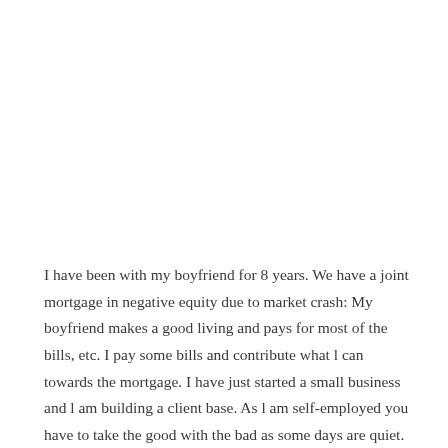I have been with my boyfriend for 8 years. We have a joint mortgage in negative equity due to market crash: My boyfriend makes a good living and pays for most of the bills, etc. I pay some bills and contribute what l can towards the mortgage. I have just started a small business and l am building a client base. As l am self-employed you have to take the good with the bad as some days are quiet. I'm making about £800 a month so